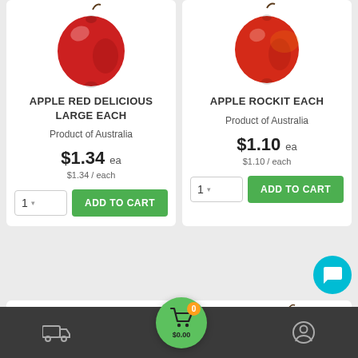[Figure (screenshot): Product card for Apple Red Delicious Large Each showing red apple image, product name, origin, price, and add to cart button]
APPLE RED DELICIOUS LARGE EACH
Product of Australia
$1.34 ea
$1.34 / each
[Figure (screenshot): Product card for Apple Rockit Each showing red apple image, product name, origin, price, and add to cart button]
APPLE ROCKIT EACH
Product of Australia
$1.10 ea
$1.10 / each
[Figure (screenshot): Partially visible product card showing Batlow apple box packaging]
[Figure (screenshot): Partially visible product card showing Imperfect Picks apple with badge]
[Figure (other): Bottom navigation bar with delivery truck icon, cart icon with $0.00 and 0 badge, and user profile icon]